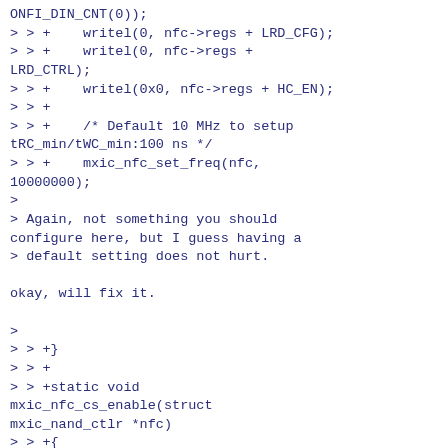ONFI_DIN_CNT(0));
> > +	writel(0, nfc->regs + LRD_CFG);
> > +	writel(0, nfc->regs +
LRD_CTRL);
> > +	writel(0x0, nfc->regs + HC_EN);
> > +
> > +	/* Default 10 MHz to setup tRC_min/tWC_min:100 ns */
> > +	mxic_nfc_set_freq(nfc, 10000000);
>
> Again, not something you should configure here, but I guess having a
> default setting does not hurt.

okay, will fix it.

>
> > +}
> > +
> > +static void mxic_nfc_cs_enable(struct mxic_nand_ctlr *nfc)
> > +{
> > +	writel(readl(nfc->regs +
HC_CFG) | HC_CFG_MAN_CS_EN,
> > +			nfc->regs + HC_CFG);
> > +	writel(HC_CFG_MAN_CS_ASSERT |
readl(nfc->regs + HC_CFG),
> > +			nfc->regs + HC_CFG);